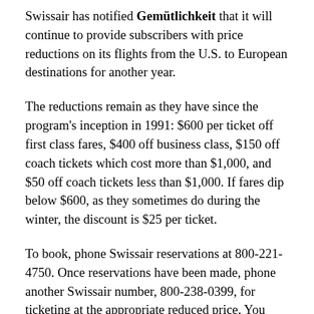Swissair has notified Gemütlichkeit that it will continue to provide subscribers with price reductions on its flights from the U.S. to European destinations for another year.
The reductions remain as they have since the program's inception in 1991: $600 per ticket off first class fares, $400 off business class, $150 off coach tickets which cost more than $1,000, and $50 off coach tickets less than $1,000. If fares dip below $600, as they sometimes do during the winter, the discount is $25 per ticket.
To book, phone Swissair reservations at 800-221-4750. Once reservations have been made, phone another Swissair number, 800-238-0399, for ticketing at the appropriate reduced price. You must book and purchase tickets directly with Swissair. Prior to issuing tickets, Swissair will verify subscriber status with the Gemütlichkeit office